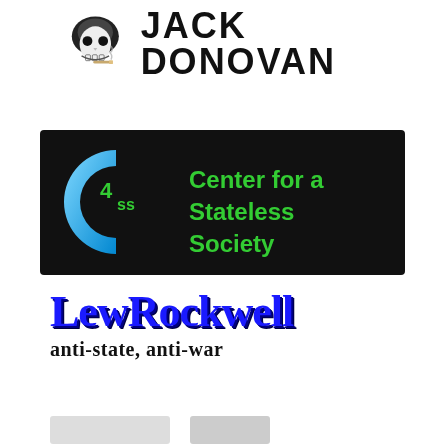[Figure (logo): Jack Donovan logo with skull wearing helmet and text JACK DONOVAN in bold black uppercase letters]
[Figure (logo): Center for a Stateless Society (C4SS) logo on black background with blue C and green 4SS text and green center name]
[Figure (logo): LewRockwell anti-state, anti-war logo in bold blue 3D serif font with black subtitle]
[Figure (logo): Partial logos visible at bottom of page, cropped]